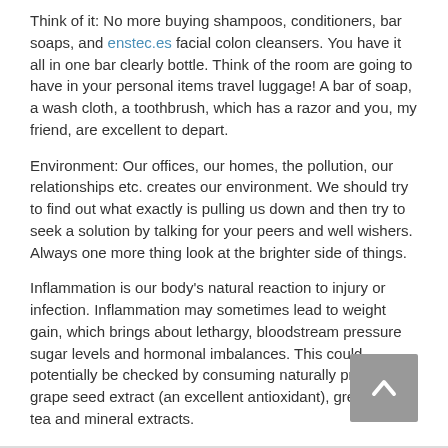Think of it: No more buying shampoos, conditioners, bar soaps, and enstec.es facial colon cleansers. You have it all in one bar clearly bottle. Think of the room are going to have in your personal items travel luggage! A bar of soap, a wash cloth, a toothbrush, which has a razor and you, my friend, are excellent to depart.
Environment: Our offices, our homes, the pollution, our relationships etc. creates our environment. We should try to find out what exactly is pulling us down and then try to seek a solution by talking for your peers and well wishers. Always one more thing look at the brighter side of things.
Inflammation is our body's natural reaction to injury or infection. Inflammation may sometimes lead to weight gain, which brings about lethargy, bloodstream pressure sugar levels and hormonal imbalances. This could potentially be checked by consuming naturally processed grape seed extract (an excellent antioxidant), green leaf tea and mineral extracts.